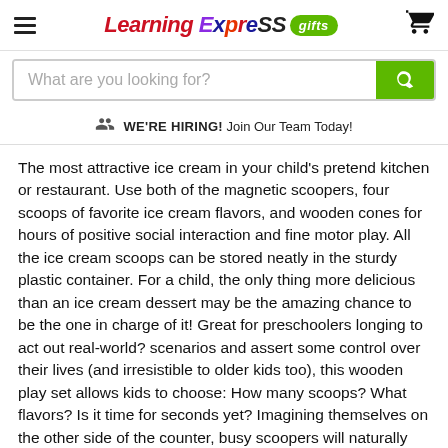Learning Express Gifts [logo] [hamburger menu] [cart icon]
What are you looking for? [search bar]
WE'RE HIRING! Join Our Team Today!
The most attractive ice cream in your child’s pretend kitchen or restaurant. Use both of the magnetic scoopers, four scoops of favorite ice cream flavors, and wooden cones for hours of positive social interaction and fine motor play. All the ice cream scoops can be stored neatly in the sturdy plastic container. For a child, the only thing more delicious than an ice cream dessert may be the amazing chance to be the one in charge of it! Great for preschoolers longing to act out real-world? scenarios and assert some control over their lives (and irresistible to older kids too), this wooden play set allows kids to choose: How many scoops? What flavors? Is it time for seconds yet? Imagining themselves on the other side of the counter, busy scoopers will naturally exercise